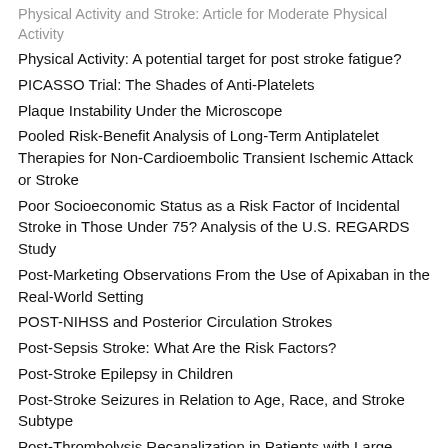Physical Activity and Stroke: Article for Moderate Physical Activity
Physical Activity: A potential target for post stroke fatigue?
PICASSO Trial: The Shades of Anti-Platelets
Plaque Instability Under the Microscope
Pooled Risk-Benefit Analysis of Long-Term Antiplatelet Therapies for Non-Cardioembolic Transient Ischemic Attack or Stroke
Poor Socioeconomic Status as a Risk Factor of Incidental Stroke in Those Under 75? Analysis of the U.S. REGARDS Study
Post-Marketing Observations From the Use of Apixaban in the Real-World Setting
POST-NIHSS and Posterior Circulation Strokes
Post-Sepsis Stroke: What Are the Risk Factors?
Post-Stroke Epilepsy in Children
Post-Stroke Seizures in Relation to Age, Race, and Stroke Subtype
Post-Thrombolysis Recanalization in Patients with Large Vessel Occlusions
Practice Makes Perfect: Article Commentary on “Improving Stroke Care in Times of the COVID-19 Pandemic Through Simulation: Practice your Protocols!”
Predicting Blood in the Real World
Predicting Early Decline in Stroke Patients Treated Endovascularly
Predicting Fall Risk in Stroke Patients
Predicting Hemorrhagic Transformation Following tPA Using CT and CT Perfusion Images